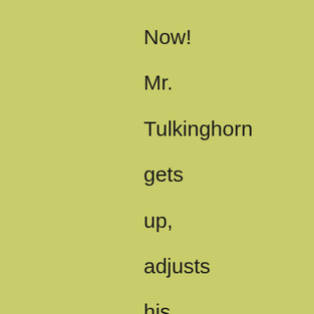Now! Mr. Tulkinghorn gets up, adjusts his spectacles, puts on  his hat, puts the manuscript in   his pocket, goes out, tells